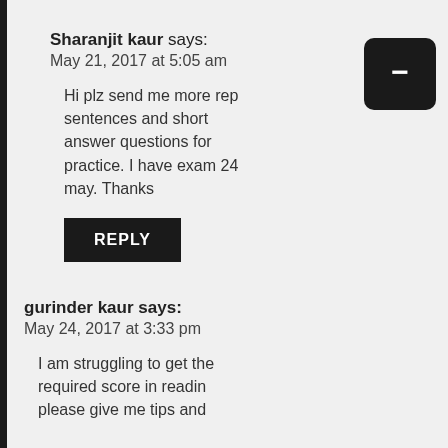Sharanjit kaur says:
May 21, 2017 at 5:05 am
Hi plz send me more rep sentences and short answer questions for practice. I have exam 24 may. Thanks
REPLY
gurinder kaur says:
May 24, 2017 at 3:33 pm
I am struggling to get the required score in readin please give me tips and